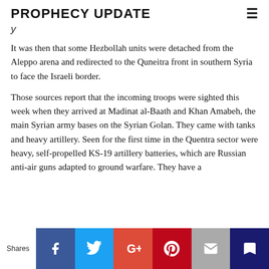PROPHECY UPDATE
It was then that some Hezbollah units were detached from the Aleppo arena and redirected to the Quneitra front in southern Syria to face the Israeli border.
Those sources report that the incoming troops were sighted this week when they arrived at Madinat al-Baath and Khan Amabeh, the main Syrian army bases on the Syrian Golan. They came with tanks and heavy artillery. Seen for the first time in the Quentra sector were heavy, self-propelled KS-19 artillery batteries, which are Russian anti-air guns adapted to ground warfare. They have a
Shares